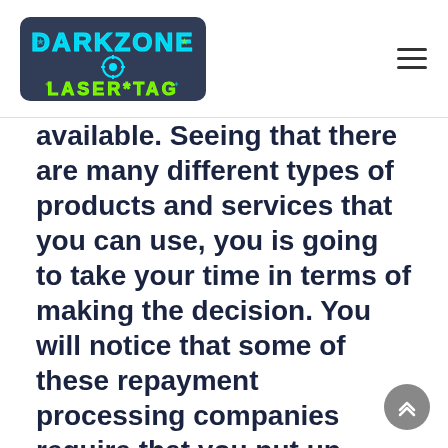DarkZone Laser Tag
available. Seeing that there are many different types of products and services that you can use, you is going to take your time in terms of making the decision. You will notice that some of these repayment processing companies require that you put up some type of guarantee and then fork out